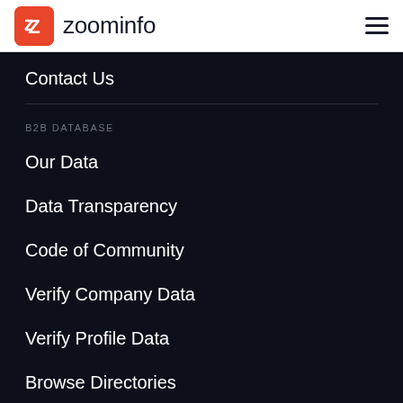[Figure (logo): ZoomInfo logo with red square icon containing a Z and company name in dark text]
Contact Us
B2B DATABASE
Our Data
Data Transparency
Code of Community
Verify Company Data
Verify Profile Data
Browse Directories
People Search
Company Search